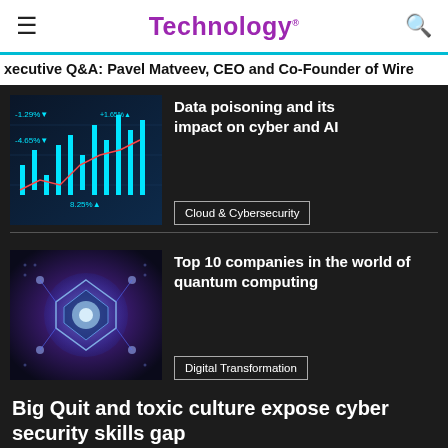Technology.
Executive Q&A: Pavel Matveev, CEO and Co-Founder of Wire
[Figure (photo): Stock market data visualization with candlestick chart and numbers on dark blue background]
Data poisoning and its impact on cyber and AI
Cloud & Cybersecurity
[Figure (photo): Abstract quantum computing visual with interconnected blue geometric shapes on dark background]
Top 10 companies in the world of quantum computing
Digital Transformation
Big Quit and toxic culture expose cyber security skills gap